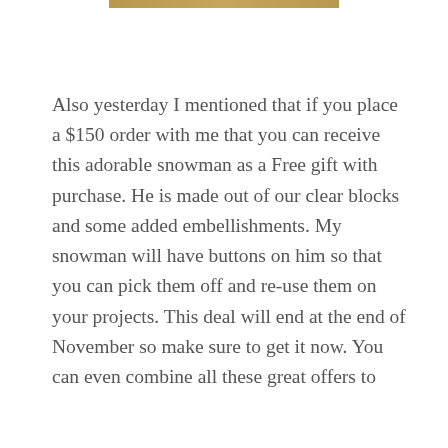[Figure (other): Decorative horizontal bar or banner at top of page with golden/tan color]
Also yesterday I mentioned that if you place a $150 order with me that you can receive this adorable snowman as a Free gift with purchase. He is made out of our clear blocks and some added embellishments. My snowman will have buttons on him so that you can pick them off and re-use them on your projects. This deal will end at the end of November so make sure to get it now. You can even combine all these great offers to